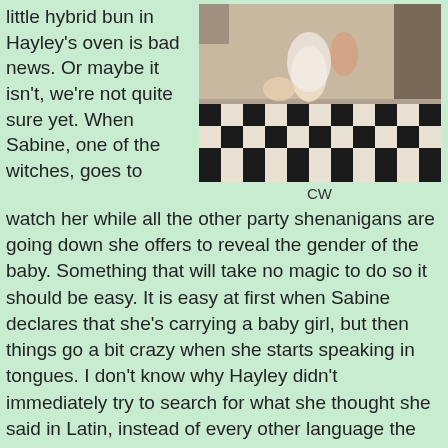little hybrid bun in Hayley's oven is bad news.  Or maybe it isn't, we're not quite sure yet. When Sabine, one of the witches, goes to watch her while all the other party shenanigans are going down she offers to reveal the gender of the baby.  Something that will take no magic to do so it should be easy.  It is easy at first when Sabine declares that she's carrying a baby girl, but then things go a bit crazy when she starts speaking in tongues.  I don't know why Hayley didn't immediately try to search for what she thought she said in Latin, instead of every other language the translator offered.  "Nos omnia perdetu el eam"  Which could be spelled all kinds of wrong anyway, but when I plugged it into my good old Google translate under the Latin setting, the first part translates to "We all lose"  I'm also sure I heard Infant somewhere in her rambling, so yes it seems this baby is going to be bad news to every supernatural being.  Except for the ones in Mystic Falls unless that is, we get an epic crossover event.
[Figure (photo): Overhead shot of people in a kitchen with black and white checkered floor tiles]
CW